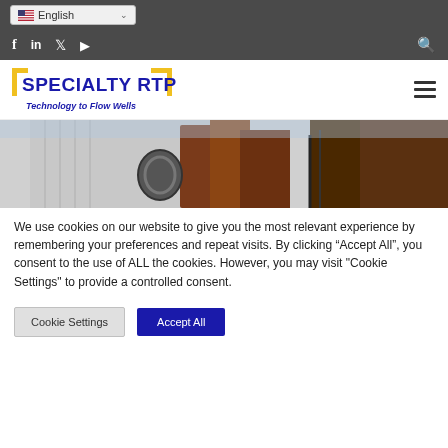English (language selector)
[Figure (screenshot): Social media icons: Facebook, LinkedIn, Twitter, YouTube and a search icon on dark background]
[Figure (logo): Specialty RTP logo with yellow brackets, blue bold text 'SPECIALTY RTP' and tagline 'Technology to Flow Wells']
[Figure (photo): Industrial equipment photo showing oil/gas well drilling machinery with metal chains and rust-colored equipment]
We use cookies on our website to give you the most relevant experience by remembering your preferences and repeat visits. By clicking “Accept All”, you consent to the use of ALL the cookies. However, you may visit "Cookie Settings" to provide a controlled consent.
Cookie Settings | Accept All